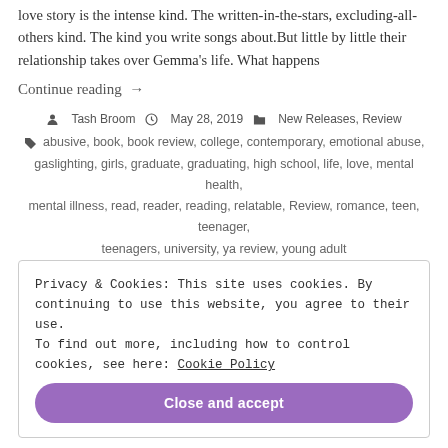love story is the intense kind. The written-in-the-stars, excluding-all-others kind. The kind you write songs about.But little by little their relationship takes over Gemma’s life. What happens
Continue reading →
Tash Broom  May 28, 2019  New Releases, Review
abusive, book, book review, college, contemporary, emotional abuse, gaslighting, girls, graduate, graduating, high school, life, love, mental health, mental illness, read, reader, reading, relatable, Review, romance, teen, teenager, teenagers, university, ya review, young adult
1 Comment
Privacy & Cookies: This site uses cookies. By continuing to use this website, you agree to their use.
To find out more, including how to control cookies, see here: Cookie Policy
Close and accept